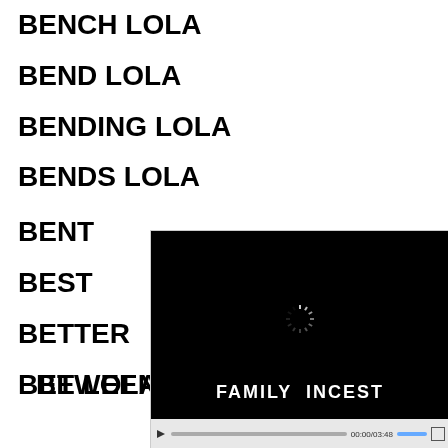BENCH LOLA
BEND LOLA
BENDING LOLA
BENDS LOLA
BENT
BEST
BETTER
BETWEEN
BE LOLA
[Figure (screenshot): Video player with black background showing text 'FAMILY INCEST' and a loading spinner. Controls show time 00:00/03:48.]